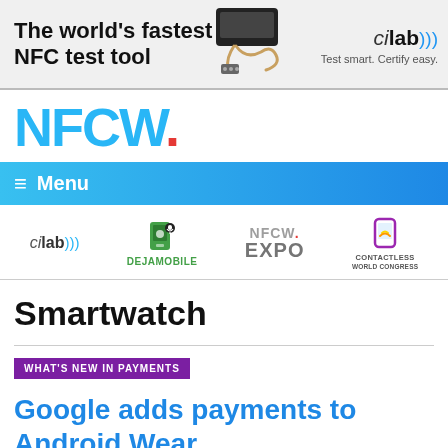[Figure (illustration): Advertisement banner: The world's fastest NFC test tool — cilab logo with device image and tagline 'Test smart. Certify easy.']
[Figure (logo): NFCW website logo in blue with red dot]
≡  Menu
[Figure (logo): Sponsor logos row: cilab, DEJAMOBILE, NFCW EXPO, CONTACTLESS WORLD CONGRESS]
Smartwatch
WHAT'S NEW IN PAYMENTS
Google adds payments to Android Wear